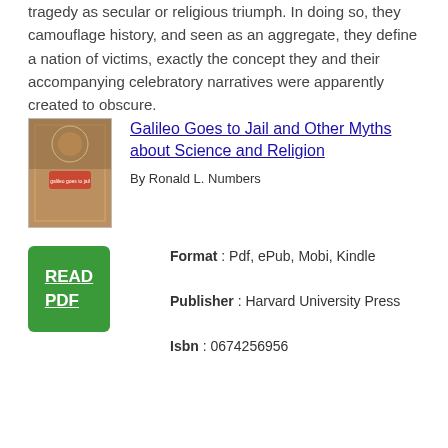tragedy as secular or religious triumph. In doing so, they camouflage history, and seen as an aggregate, they define a nation of victims, exactly the concept they and their accompanying celebratory narratives were apparently created to obscure.
Galileo Goes to Jail and Other Myths about Science and Religion
By Ronald L. Numbers
[Figure (illustration): Book cover for 'Galileo Goes to Jail and Other Myths about Science and Religion']
READ PDF
Format : Pdf, ePub, Mobi, Kindle
Publisher : Harvard University Press
Isbn : 0674256956